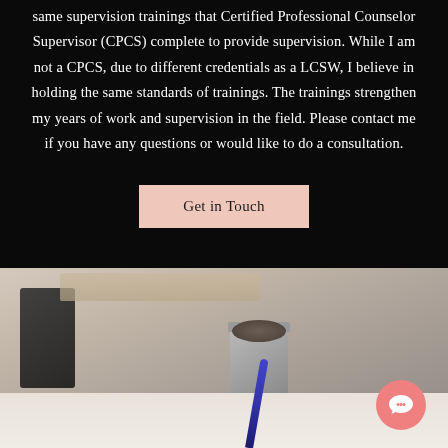same supervision trainings that Certified Professional Counselor Supervisor (CPCS) complete to provide supervision. While I am not a CPCS, due to different credentials as a LCSW, I believe in holding the same standards of trainings. The trainings strengthen my years of work and supervision in the field. Please contact me if you have any questions or would like to do a consultation.
[Figure (other): A button labeled 'Get in Touch' with a light pink/salmon background color, centered on the dark background section.]
[Figure (photo): A blurred/bokeh photograph showing a desk scene with a gray ceramic mug, a pen, and what appears to be books or a shelf in the background. A coral/pink chat bubble icon is visible in the lower right corner.]